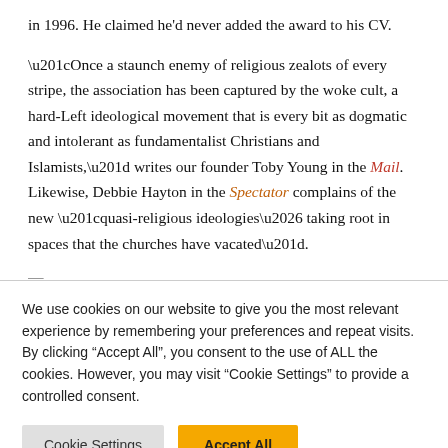in 1996. He claimed he'd never added the award to his CV.
“Once a staunch enemy of religious zealots of every stripe, the association has been captured by the woke cult, a hard-Left ideological movement that is every bit as dogmatic and intolerant as fundamentalist Christians and Islamists,” writes our founder Toby Young in the Mail. Likewise, Debbie Hayton in the Spectator complains of the new “quasi-religious ideologies… taking root in spaces that the churches have vacated”.
We use cookies on our website to give you the most relevant experience by remembering your preferences and repeat visits. By clicking “Accept All”, you consent to the use of ALL the cookies. However, you may visit “Cookie Settings” to provide a controlled consent.